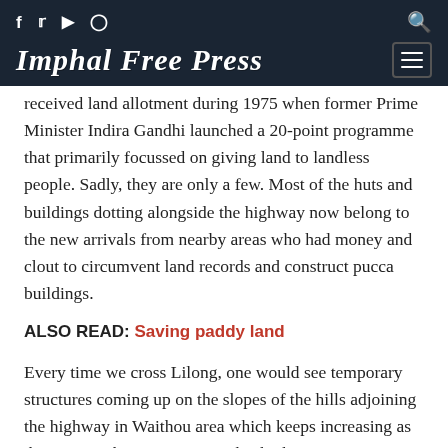Imphal Free Press
received land allotment during 1975 when former Prime Minister Indira Gandhi launched a 20-point programme that primarily focussed on giving land to landless people. Sadly, they are only a few. Most of the huts and buildings dotting alongside the highway now belong to the new arrivals from nearby areas who had money and clout to circumvent land records and construct pucca buildings.
ALSO READ: Saving paddy land
Every time we cross Lilong, one would see temporary structures coming up on the slopes of the hills adjoining the highway in Waithou area which keeps increasing as the years go by. Twenty years back, the